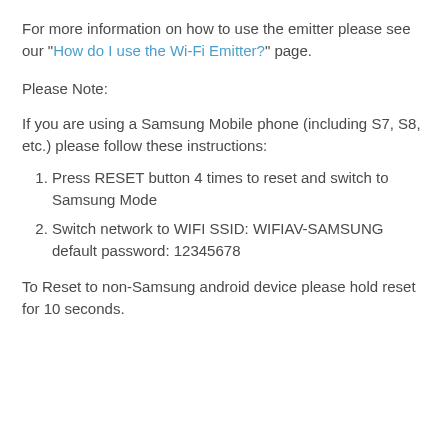For more information on how to use the emitter please see our "How do I use the Wi-Fi Emitter?" page.
Please Note:
If you are using a Samsung Mobile phone (including S7, S8, etc.) please follow these instructions:
Press RESET button 4 times to reset and switch to Samsung Mode
Switch network to WIFI SSID: WIFIAV-SAMSUNG default password: 12345678
To Reset to non-Samsung android device please hold reset for 10 seconds.